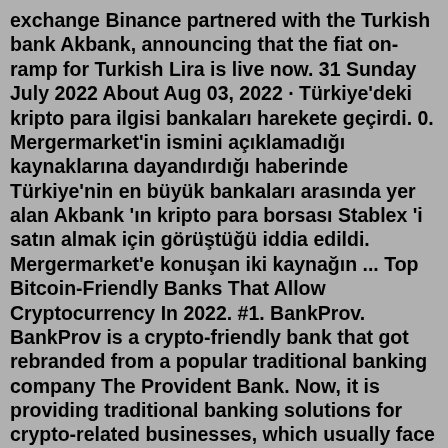exchange Binance partnered with the Turkish bank Akbank, announcing that the fiat on-ramp for Turkish Lira is live now. 31 Sunday July 2022 About Aug 03, 2022 · Türkiye'deki kripto para ilgisi bankaları harekete geçirdi. 0. Mergermarket'in ismini açıklamadığı kaynaklarına dayandırdığı haberinde Türkiye'nin en büyük bankaları arasında yer alan Akbank 'ın kripto para borsası Stablex 'i satın almak için görüştüğü iddia edildi. Mergermarket'e konuşan iki kaynağın ... Top Bitcoin-Friendly Banks That Allow Cryptocurrency In 2022. #1. BankProv. BankProv is a crypto-friendly bank that got rebranded from a popular traditional banking company The Provident Bank. Now, it is providing traditional banking solutions for crypto-related businesses, which usually face banking difficulties.Haberin yayınlandığı saatte Akbank'ın internet ve mobil şubeleri açılmıyor ya da yavaş açılıyordu.Akbank ise resmi Twitter hesabından siber saldırı iddialarını reddeden aşağıdaki açıklamayı yaptı. Banks'e çarşı daha önce yaptığı açıklamada